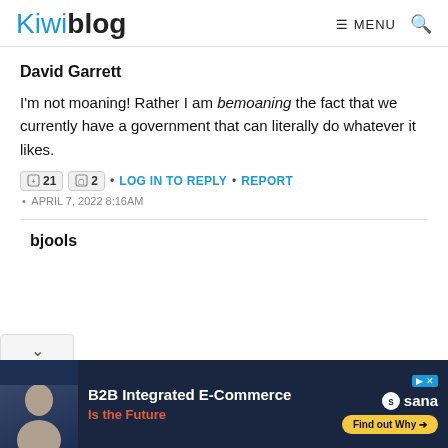Kiwiblog  ≡ MENU  🔍
David Garrett
I'm not moaning! Rather I am bemoaning the fact that we currently have a government that can literally do whatever it likes.
21  2  •  LOG IN TO REPLY  •  REPORT  •  APRIL 7, 2022 8:16AM
bjools
[Figure (photo): Advertisement banner for Sana B2B Integrated E-Commerce with man photo and Find out Why button]